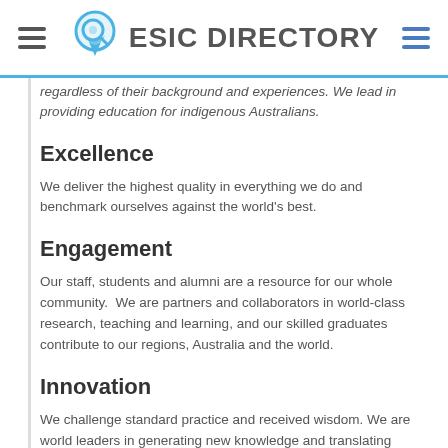ESIC DIRECTORY
regardless of their background and experiences. We lead in providing education for indigenous Australians.
Excellence
We deliver the highest quality in everything we do and benchmark ourselves against the world’s best.
Engagement
Our staff, students and alumni are a resource for our whole community.  We are partners and collaborators in world-class research, teaching and learning, and our skilled graduates contribute to our regions, Australia and the world.
Innovation
We challenge standard practice and received wisdom. We are world leaders in generating new knowledge and translating innovative ideas into real benefits to society.